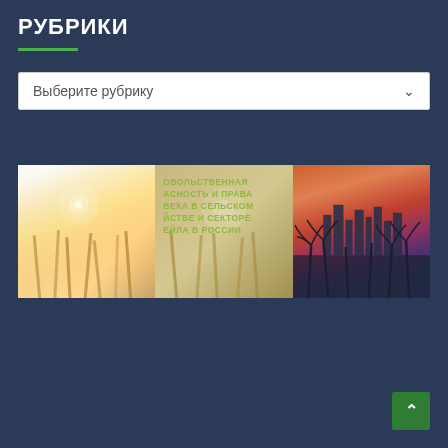РУБРИКИ
[Figure (screenshot): Dropdown selector labeled 'Выберите рубрику' with chevron arrow on dark blue background]
[Figure (photo): Three panel image collage: left panel shows wheat field with light flare, middle panel shows agricultural field with green text overlay reading 'ОВОЛЬСТВЕННАЯ АСНОСТЬ И ПРАВА ВЕКА В СЕЛЬСКОМ ЙСТВЕ И СЕКТОРЕ ЕЙЛА В РОССИИ', right panel shows city skyline at sunset with palm trees]
[Figure (other): Back to top button - green square with upward arrow, positioned bottom right]